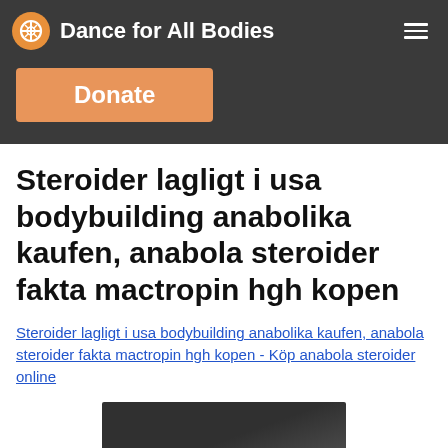Dance for All Bodies
Donate
Steroider lagligt i usa bodybuilding anabolika kaufen, anabola steroider fakta mactropin hgh kopen
Steroider lagligt i usa bodybuilding anabolika kaufen, anabola steroider fakta mactropin hgh kopen - Köp anabola steroider online
[Figure (photo): Dark blurred photo at the bottom of the page]